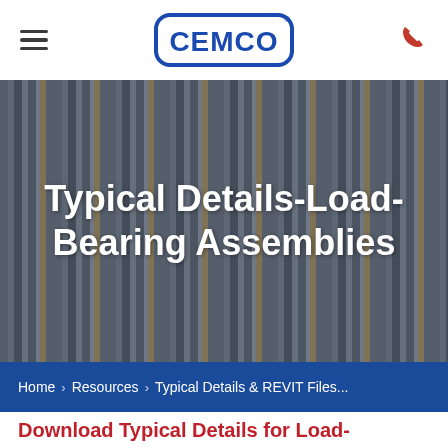CEMCO logo, hamburger menu, phone icon
[Figure (photo): Hero image background of steel framing / metal studs in rows, with overlaid bold white text reading 'Typical Details-Load-Bearing Assemblies']
Typical Details-Load-Bearing Assemblies
Home › Resources › Typical Details & REVIT Files...
Download Typical Details for Load-Bearing Assemblies